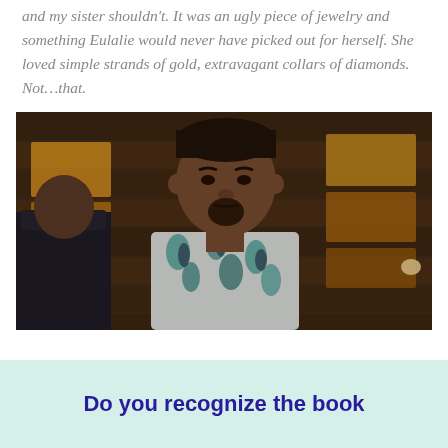and my sister shouldn't. It was an ugly piece of jewelry and something Eulalie would never have picked out for herself. She loved simple strands of gold, extravagant collars of diamonds. Not…that.
[Figure (photo): A man wearing a white and teal tropical floral print shirt, with a goatee, serious expression, seated in front of a wooden plank background with warm amber lighting. Another person in a dark suit is partially visible on the left.]
Do you recognize the book